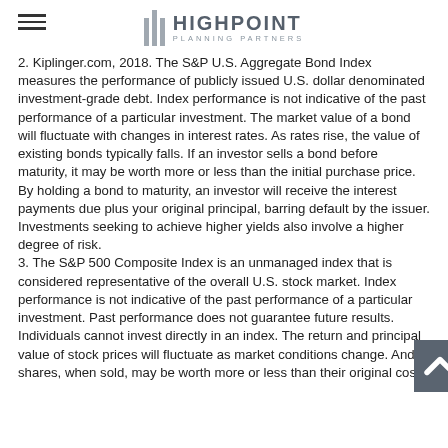HIGHPOINT PLANNING PARTNERS
2. Kiplinger.com, 2018. The S&P U.S. Aggregate Bond Index measures the performance of publicly issued U.S. dollar denominated investment-grade debt. Index performance is not indicative of the past performance of a particular investment. The market value of a bond will fluctuate with changes in interest rates. As rates rise, the value of existing bonds typically falls. If an investor sells a bond before maturity, it may be worth more or less than the initial purchase price. By holding a bond to maturity, an investor will receive the interest payments due plus your original principal, barring default by the issuer. Investments seeking to achieve higher yields also involve a higher degree of risk.
3. The S&P 500 Composite Index is an unmanaged index that is considered representative of the overall U.S. stock market. Index performance is not indicative of the past performance of a particular investment. Past performance does not guarantee future results. Individuals cannot invest directly in an index. The return and principal value of stock prices will fluctuate as market conditions change. And shares, when sold, may be worth more or less than their original cost.